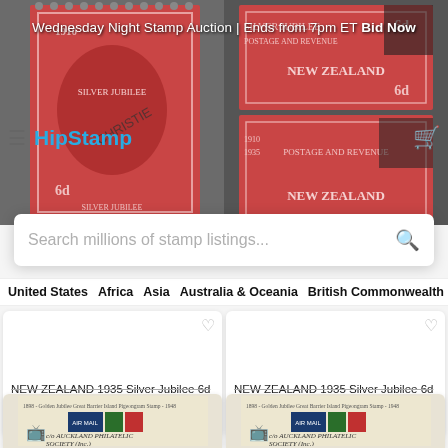[Figure (screenshot): HipStamp website screenshot showing stamp auction listings. Header shows two New Zealand 1935 Silver Jubilee 6d stamps in red with Christie cancel. Navigation bar with hamburger menu, HipStamp logo, and cart icon. Blue search bar with text 'Search millions of stamp listings...'. Category navigation: United States, Africa, Asia, Australia & Oceania, British Commonwealth, Cana(da). Two stamp listing cards: 'NEW ZEALAND 1935 Silver Jubilee 6d fine used - ACS ca...' for $8.00 and 'NEW ZEALAND 1935 Silver Jubilee 6d fine used pair - AC...' for $16.00. Two pigeon/cover stamp cards at bottom.]
Wednesday Night Stamp Auction | Ends from 7pm ET Bid Now
Search millions of stamp listings...
United States  Africa  Asia  Australia & Oceania  British Commonwealth  Cana
NEW ZEALAND 1935 Silver Jubilee 6d fine used - ACS ca...
$8.00
NEW ZEALAND 1935 Silver Jubilee 6d fine used pair - AC...
$16.00